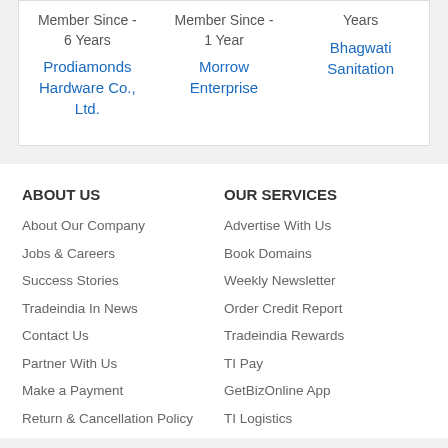Member Since - 6 Years
Prodiamonds Hardware Co., Ltd.
Member Since - 1 Year
Morrow Enterprise
Years
Bhagwati Sanitation
ABOUT US
About Our Company
Jobs & Careers
Success Stories
Tradeindia In News
Contact Us
Partner With Us
Make a Payment
Return & Cancellation Policy
OUR SERVICES
Advertise With Us
Book Domains
Weekly Newsletter
Order Credit Report
Tradeindia Rewards
TI Pay
GetBizOnline App
TI Logistics